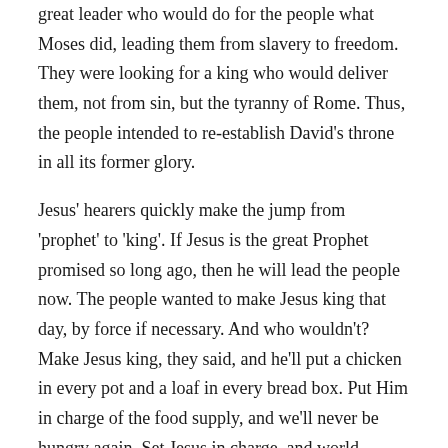great leader who would do for the people what Moses did, leading them from slavery to freedom. They were looking for a king who would deliver them, not from sin, but the tyranny of Rome. Thus, the people intended to re-establish David's throne in all its former glory.
Jesus' hearers quickly make the jump from 'prophet' to 'king'. If Jesus is the great Prophet promised so long ago, then he will lead the people now. The people wanted to make Jesus king that day, by force if necessary. And who wouldn't? Make Jesus king, they said, and he'll put a chicken in every pot and a loaf in every bread box. Put Him in charge of the food supply, and we'll never be hungry again. Set Jesus in charge, and world hunger would disappear in a heartbeat. An endless supply of free bread for all. Now there's an